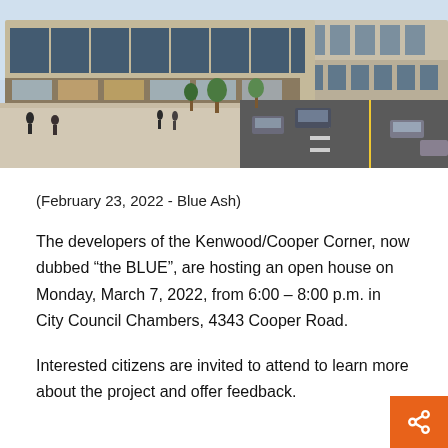[Figure (illustration): Architectural rendering of the Kenwood/Cooper Corner development (the BLUE), showing a modern mixed-use building with retail at street level, outdoor plaza with fountain, trees, and an adjacent road with parked and moving cars.]
(February 23, 2022 - Blue Ash)
The developers of the Kenwood/Cooper Corner, now dubbed “the BLUE”, are hosting an open house on Monday, March 7, 2022, from 6:00 – 8:00 p.m. in City Council Chambers, 4343 Cooper Road.
Interested citizens are invited to attend to learn more about the project and offer feedback.